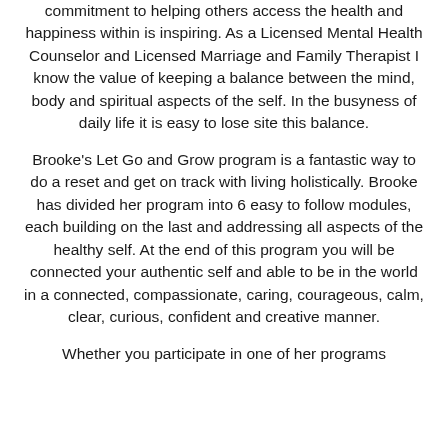commitment to helping others access the health and happiness within is inspiring. As a Licensed Mental Health Counselor and Licensed Marriage and Family Therapist I know the value of keeping a balance between the mind, body and spiritual aspects of the self. In the busyness of daily life it is easy to lose site this balance.
Brooke's Let Go and Grow program is a fantastic way to do a reset and get on track with living holistically. Brooke has divided her program into 6 easy to follow modules, each building on the last and addressing all aspects of the healthy self. At the end of this program you will be connected your authentic self and able to be in the world in a connected, compassionate, caring, courageous, calm, clear, curious, confident and creative manner.
Whether you participate in one of her programs